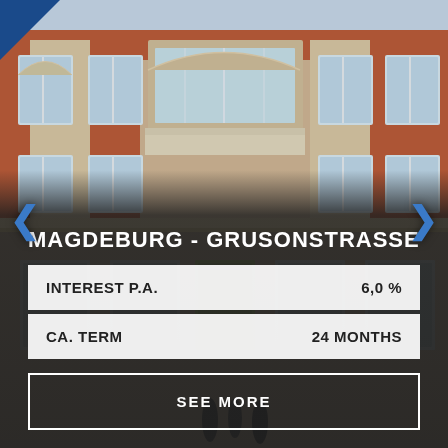[Figure (photo): Photograph of a classic red-brick European apartment building facade with ornate white window surrounds, balconies, and arched windows]
MAGDEBURG - GRUSONSTRASSE
| INTEREST P.A. | 6,0 % |
| CA. TERM | 24 MONTHS |
SEE MORE